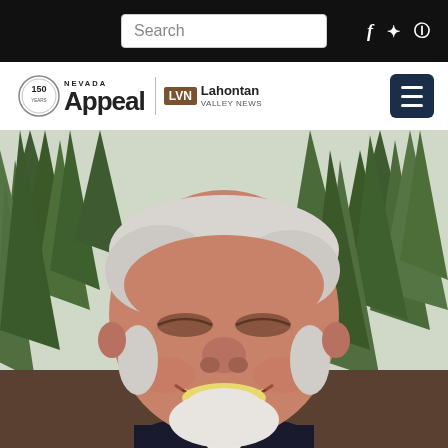Search | Nevada Appeal / Lahontan Valley News
[Figure (photo): Portrait photo of an older white-haired man with a white goatee, smiling broadly, wearing a dark suit jacket, with pine trees in the background]